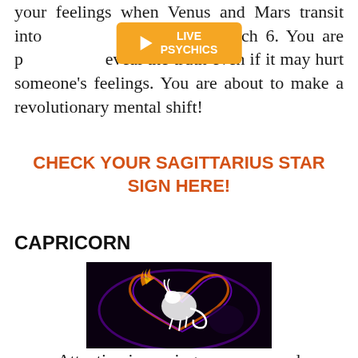your feelings when Venus and Mars transit into … March 6. You are prepared to reveal the truth even if it may hurt someone's feelings. You are about to make a revolutionary mental shift!
[Figure (other): Orange LIVE PSYCHICS banner with play button overlay]
CHECK YOUR SAGITTARIUS STAR SIGN HERE!
CAPRICORN
[Figure (illustration): Capricorn zodiac illustration: white sea-goat creature inside a glowing heart shape made of fire and purple/blue light on black background]
Attention is coming your way, and